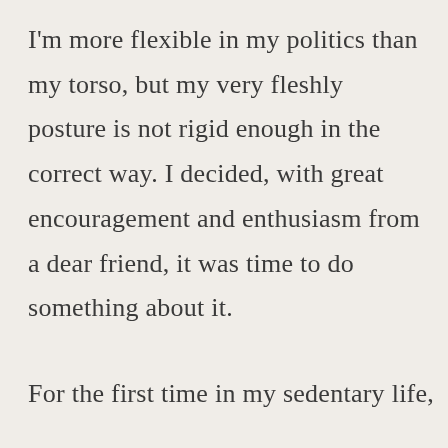I'm more flexible in my politics than my torso, but my very fleshly posture is not rigid enough in the correct way. I decided, with great encouragement and enthusiasm from a dear friend, it was time to do something about it.
For the first time in my sedentary life,